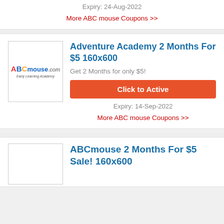Expiry: 24-Aug-2022
More ABC mouse Coupons >>
Adventure Academy 2 Months For $5 160x600
Get 2 Months for only $5!
Click to Active
Expiry: 14-Sep-2022
More ABC mouse Coupons >>
ABCmouse 2 Months For $5 Sale! 160x600